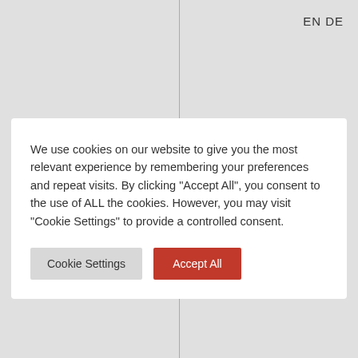EN DE
We use cookies on our website to give you the most relevant experience by remembering your preferences and repeat visits. By clicking "Accept All", you consent to the use of ALL the cookies. However, you may visit "Cookie Settings" to provide a controlled consent.
Cookie Settings | Accept All